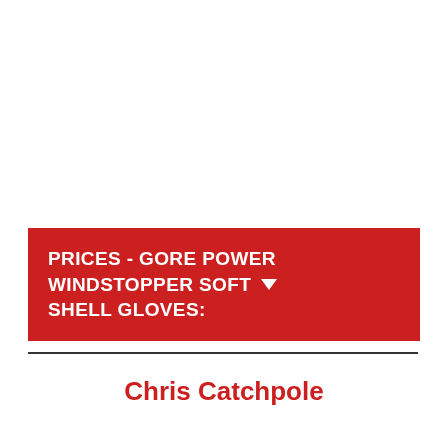PRICES - GORE POWER WINDSTOPPER SOFT SHELL GLOVES:
Chris Catchpole